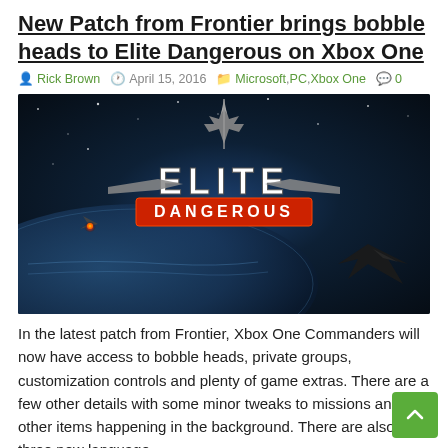New Patch from Frontier brings bobble heads to Elite Dangerous on Xbox One
Rick Brown  April 15, 2016  Microsoft, PC, Xbox One  0
[Figure (photo): Elite Dangerous game logo/cover art showing spacecraft and the Elite Dangerous title text on a dark space background]
In the latest patch from Frontier, Xbox One Commanders will now have access to bobble heads, private groups, customization controls and plenty of game extras. There are a few other details with some minor tweaks to missions and other items happening in the background. There are also three new language …
Read More »